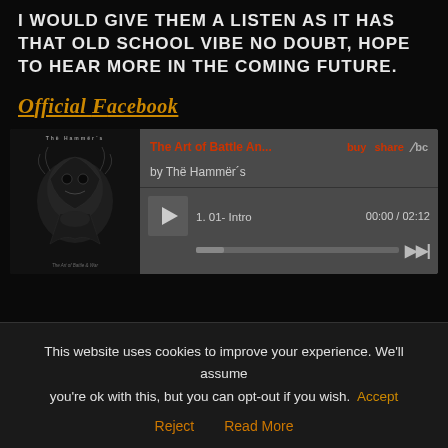I WOULD GIVE THEM A LISTEN AS IT HAS THAT OLD SCHOOL VIBE NO DOUBT, HOPE TO HEAR MORE IN THE COMING FUTURE.
Official Facebook
[Figure (screenshot): Bandcamp music player widget showing 'The Art of Battle An...' by Thë Hammër´s, with album art on the left showing a dark creature illustration, player controls including play button, track '1. 01- Intro', time '00:00 / 02:12', progress bar, and skip button. Buy, share, and Bandcamp logo links visible.]
This website uses cookies to improve your experience. We'll assume you're ok with this, but you can opt-out if you wish. Accept
Reject   Read More